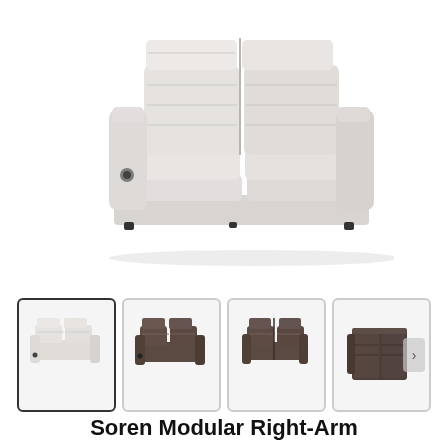[Figure (photo): Main product photo of a light gray/beige two-seat modular reclining sofa (Soren Modular Right-Arm) on white background, viewed from a three-quarter front angle]
[Figure (photo): Thumbnail 1 (selected): Light gray loveseat recliner, three-quarter front view]
[Figure (photo): Thumbnail 2: Dark brown/charcoal loveseat recliner, three-quarter front view]
[Figure (photo): Thumbnail 3: Dark brown/charcoal loveseat recliner, front view]
[Figure (photo): Thumbnail 4: Dark brown/charcoal loveseat recliner, rear/side view with next arrow button]
Soren Modular Right-Arm